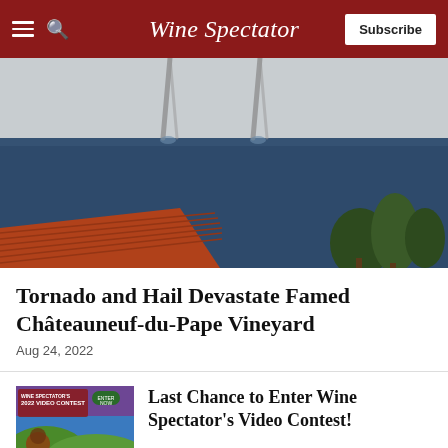Wine Spectator — Subscribe
[Figure (photo): Waterspout tornados over a dark blue sea with a terracotta tiled rooftop and trees in the foreground]
Tornado and Hail Devastate Famed Châteauneuf-du-Pape Vineyard
Aug 24, 2022
[Figure (illustration): Wine Spectator's 2022 Video Contest promotional illustration with colorful vineyard and grape imagery]
Last Chance to Enter Wine Spectator's Video Contest!